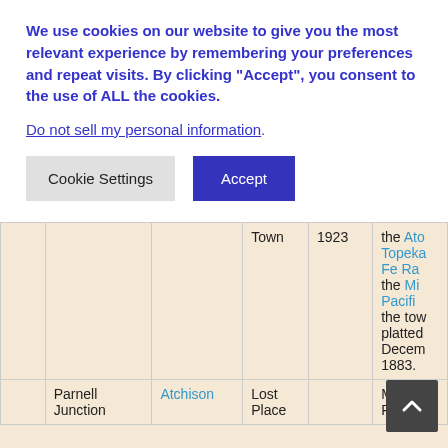We use cookies on our website to give you the most relevant experience by remembering your preferences and repeat visits. By clicking “Accept”, you consent to the use of ALL the cookies.
Do not sell my personal information.
Cookie Settings | Accept
|  |  |  | Town | 1923 | the Ato... Topeka... Fe Ra... the Mi... Pacific... the tow platted Decem 1883. |
| --- | --- | --- | --- | --- | --- |
|  | Parnell Junction | Atchison | Lost Place |  | Moui... Pleasa... |